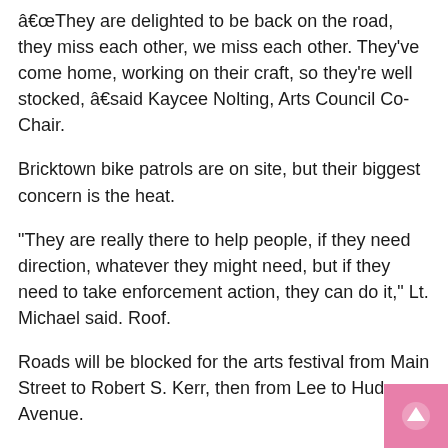â€œThey are delighted to be back on the road, they miss each other, we miss each other. They’ve come home, working on their craft, so they’re well stocked, â€”said Kaycee Nolting, Arts Council Co-Chair.
Bricktown bike patrols are on site, but their biggest concern is the heat.
“They are really there to help people, if they need direction, whatever they might need, but if they need to take enforcement action, they can do it,” Lt. Michael said. Roof.
Roads will be blocked for the arts festival from Main Street to Robert S. Kerr, then from Lee to Hudson Avenue.
It’s a busy weekend downtown, there will also be road closures around Scissortail Park.
OKC Pride Alliance hosts the Pride Fest at the park from Friday